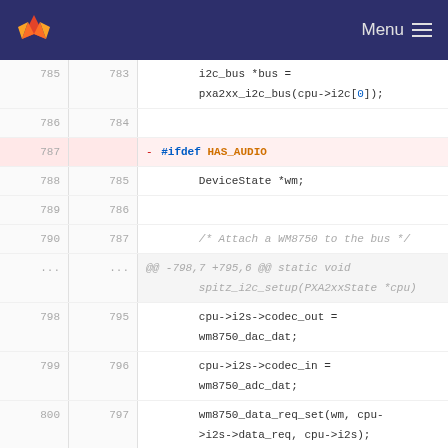GitLab | Menu
Code diff view showing lines 785-804 of a C source file with removal of #ifdef HAS_AUDIO and #endif preprocessor directives